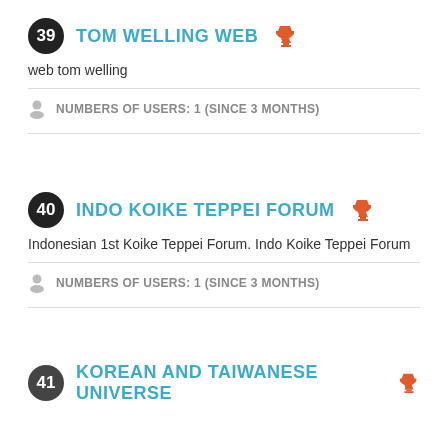39 TOM WELLING WEB — web tom welling — NUMBERS OF USERS: 1 (SINCE 3 MONTHS)
40 INDO KOIKE TEPPEI FORUM — Indonesian 1st Koike Teppei Forum. Indo Koike Teppei Forum — NUMBERS OF USERS: 1 (SINCE 3 MONTHS)
41 KOREAN AND TAIWANESE UNIVERSE (partial)